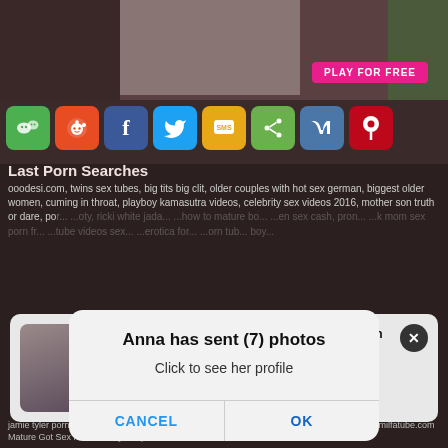[Figure (screenshot): Top portion of adult website with partial image visible]
[Figure (infographic): Row of social share buttons: WeChat (green), Reddit (orange-red), Facebook (blue), Twitter (blue), SMS (yellow), Share (green), VK (blue), Pinterest (red)]
Last Porn Searches
ooodesi.com, twins sex tubes, big tits big clit, older couples with hot sex german, biggest older women, cuming in throat, playboy kamasutra videos, celebrity sex videos 2016, mother son truth or dare, po... ...oty, ricki white jada... ...how to mature bo... ...en sex cash, pron... ...k mom sex porn fr... ...tube videos sex... ...erotica for... ...orn tub... boy...
[Figure (screenshot): Browser dialog/modal popup. Title: Anna has sent (7) photos. Subtitle: Click to see her profile. Two buttons: CANCEL and OK]
Anna has sent (7) photos
Click to see her profile
CANCEL
OK
Anna (35) sent you a sex request🔞Ashburn
Tap and get her contact 📍Ashburn 📍
[Figure (screenshot): Notification card at bottom with thumbnail image of person, text: Anna (35) sent you a sex request Ashburn, Tap and get her contact Ashburn]
Anna (35) sent you a sex request🔞Ashburn
Tap and get her contact 📍Ashburn 📍
jamie tyler porn, karua nkass, jav hd videos, hot sexy horny lesbians, janice griffith april o neil, milfatube.com Mature Got Sex maturesl.com